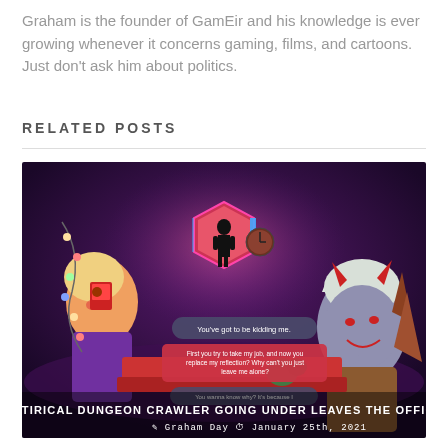Graham is the founder of GamEir and his knowledge is ever growing whenever it concerns gaming, films, and cartoons. Just don't ask him about politics.
RELATED POSTS
[Figure (screenshot): Screenshot from the game 'Going Under' showing animated characters in a dark purple office scene with dialogue bubbles. Text overlaid: 'SATIRICAL DUNGEON CRAWLER GOING UNDER LEAVES THE OFFICE' and byline 'Graham Day  January 25th, 2021'.]